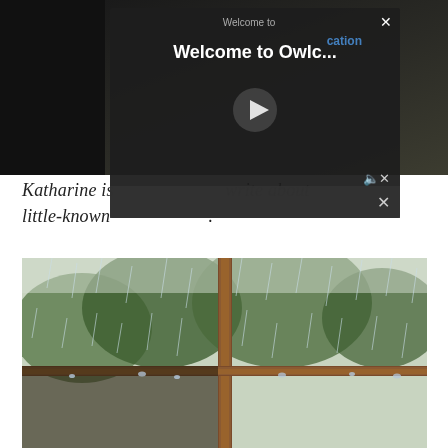[Figure (screenshot): Dark background showing an owl, with a video player modal overlay. Modal shows title 'Welcome to' and 'Welcome to Owlc...' with a play button, speaker/mute icon, and close buttons.]
Katharine is ... write about little-known ...
[Figure (photo): Photograph of rain falling outside a multi-pane window with rusty metal frames, trees visible in the background through the rain.]